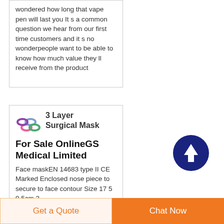wondered how long that vape pen will last you It s a common question we hear from our first time customers and it s no wonder people want to be able to know how much value they ll receive from the product
[Figure (logo): Colorful linked rings logo]
3 Layer Surgical Mask For Sale OnlineGS Medical Limited
Face maskEN 14683 type II CE Marked Enclosed nose piece to secure to face contour Size 17 5 9 5cm 3
[Figure (other): Dark blue circular scroll-to-top button with white upward arrow]
Get a Quote
Chat Now